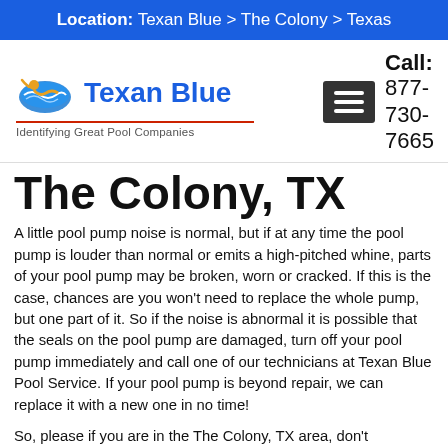Location: Texan Blue > The Colony > Texas
[Figure (logo): Texan Blue logo with pool graphic and tagline 'Identifying Great Pool Companies']
Call: 877-730-7665
The Colony, TX
A little pool pump noise is normal, but if at any time the pool pump is louder than normal or emits a high-pitched whine, parts of your pool pump may be broken, worn or cracked. If this is the case, chances are you won't need to replace the whole pump, but one part of it. So if the noise is abnormal it is possible that the seals on the pool pump are damaged, turn off your pool pump immediately and call one of our technicians at Texan Blue Pool Service. If your pool pump is beyond repair, we can replace it with a new one in no time!
So, please if you are in the The Colony, TX area, don't